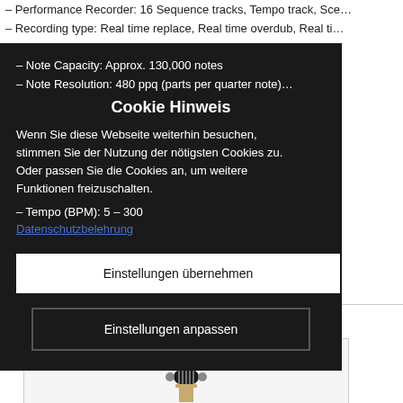– Performance Recorder: 16 Sequence tracks, Tempo track, Sce…
– Recording type: Real time replace, Real time overdub, Real ti…
– Note Capacity: Approx. 130,000 notes
– Note Resolution: 480 ppq (parts per quarter note)…
– Tempo (BPM): 5 – 300
– So…
– … : Approx.…
– Seq… MF formats 0,…
– Abmessunge… .96 mm
Cookie Hinweis
Wenn Sie diese Webseite weiterhin besuchen, stimmen Sie der Nutzung der nötigsten Cookies zu.
Oder passen Sie die Cookies an, um weitere Funktionen freizuschalten.
Datenschutzbelehrung
Einstellungen übernehmen
Einstellungen anpassen
Ähnliche Produkte
[Figure (photo): Guitar headstock photo, dark/black finish, partially visible at bottom of page]